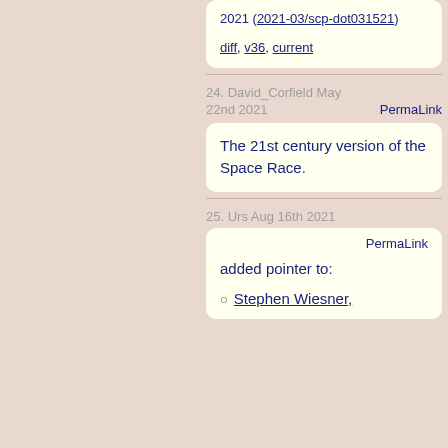2021 (2021-03/scp-dot031521)
diff, v36, current
24. David_Corfield  May 22nd 2021  PermaLink
The 21st century version of the Space Race.
25. Urs  Aug 16th 2021  PermaLink
added pointer to:
Stephen Wiesner,